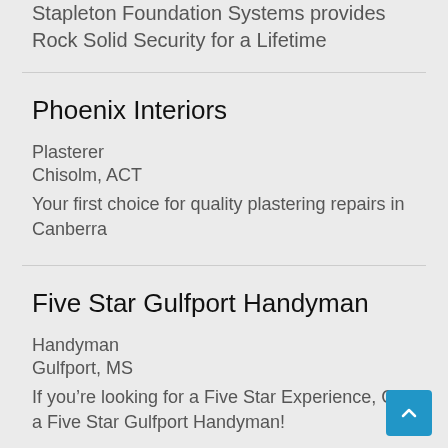Stapleton Foundation Systems provides Rock Solid Security for a Lifetime
Phoenix Interiors
Plasterer
Chisolm, ACT
Your first choice for quality plastering repairs in Canberra
Five Star Gulfport Handyman
Handyman
Gulfport, MS
If you’re looking for a Five Star Experience, Call a Five Star Gulfport Handyman!